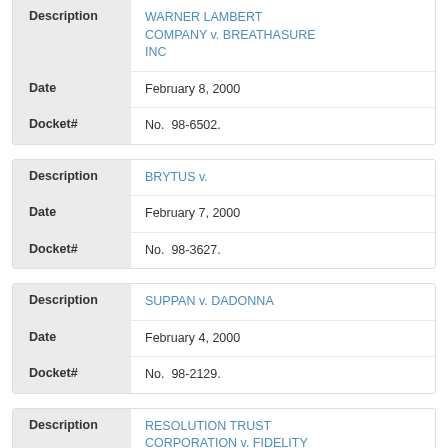| Field | Value |
| --- | --- |
| Description | WARNER LAMBERT COMPANY v. BREATHASURE INC |
| Date | February 8, 2000 |
| Docket# | No.  98-6502. |
| Field | Value |
| --- | --- |
| Description | BRYTUS v. |
| Date | February 7, 2000 |
| Docket# | No.  98-3627. |
| Field | Value |
| --- | --- |
| Description | SUPPAN v. DADONNA |
| Date | February 4, 2000 |
| Docket# | No.  98-2129. |
| Field | Value |
| --- | --- |
| Description | RESOLUTION TRUST CORPORATION v. FIDELITY AND DEPOSIT COMPANY OF MARYLAND |
| Date | February 4, 2000 |
| Docket# | No.  98-6368. |